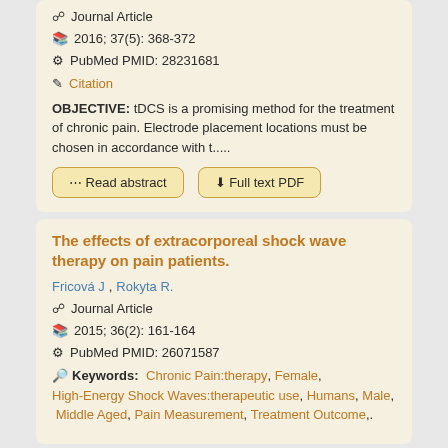2016; 37(5): 368-372
PubMed PMID: 28231681
Citation
OBJECTIVE: tDCS is a promising method for the treatment of chronic pain. Electrode placement locations must be chosen in accordance with t.....
Read abstract
Full text PDF
The effects of extracorporeal shock wave therapy on pain patients.
Fricová J, Rokyta R.
Journal Article
2015; 36(2): 161-164
PubMed PMID: 26071587
Keywords: Chronic Pain:therapy, Female, High-Energy Shock Waves:therapeutic use, Humans, Male, Middle Aged, Pain Measurement, Treatment Outcome,.